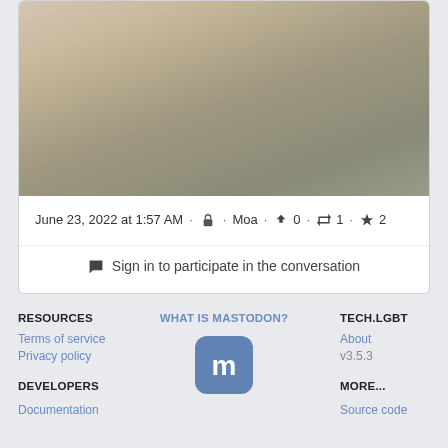[Figure (photo): A blurred gradient photo, warm beige and olive tones, cropped at top]
June 23, 2022 at 1:57 AM · 🔒 · Moa · ↩ 0 · 🔁 1 · ★ 2
💬 Sign in to participate in the conversation
RESOURCES
WHAT IS MASTODON?
TECH.LGBT
Terms of service
Privacy policy
[Figure (logo): Mastodon logo — white M on rounded blue-gray square background]
About
v3.5.3
DEVELOPERS
MORE...
Documentation
Source code